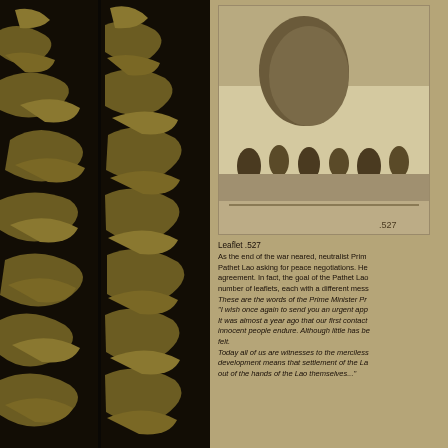[Figure (photo): Tiger stripe camouflage pattern on left half of page, dark brown/black and olive green stripes]
[Figure (photo): Black and white photograph showing people gathered outdoors, appears to be a wartime scene in Laos]
Leaflet .527
As the end of the war neared, neutralist Prime Minister Souvanna Phouma wrote to the Pathet Lao asking for peace negotiations. He was hopeful that the two sides could reach agreement. In fact, the goal of the Pathet Lao was military victory. JUSPAO prepared a number of leaflets, each with a different message. Leaflet 527 contained his own words: These are the words of the Prime Minister Prince Souvanna Phouma: "I wish once again to send you an urgent appeal... It was almost a year ago that our first contact took place... The suffering that innocent people endure. Although little has been given back, much has been taken and felt. Today all of us are witnesses to the merciless suffering of the Lao people. This development means that settlement of the Lao problem seems to be passing more and more out of the hands of the Lao themselves..."
[Figure (photo): Lao language text on a leaflet, showing Lao script in black ink on a light background]